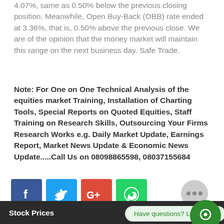4.07%, same as 0.50% below the previous closing position. Meanwhile, Open Buy-Back (OBB) rate ended at 3.36%, that is, 0.50% above the previous close. We are of the opinion that the money market will maintain this range on the next business day. Safe Trade.
Note: For One on One Technical Analysis of the equities market Training, Installation of Charting Tools, Special Reports on Quoted Equities, Staff Training on Research Skills, Outsourcing Your Firms Research Works e.g. Daily Market Update, Earnings Report, Market News Update & Economic News Update.....Call Us on 08098865598, 08037155684
[Figure (infographic): Social media share buttons: Facebook (blue), Twitter (light blue), Google+ (red), WhatsApp (green), and a scroll-up button (dark green). A grey dots button on the right, a green chat circle, and a chat bubble saying 'Have questions? Let's Chat'.]
Stock Prices    ABBEYBDS [...]  0.00